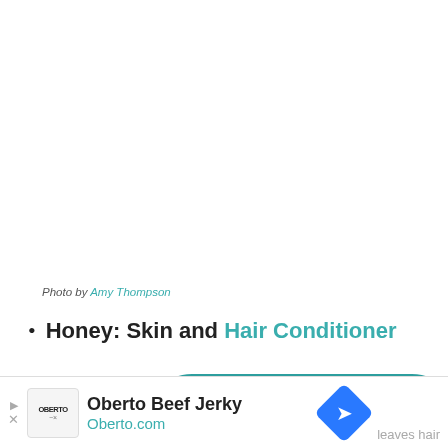Photo by Amy Thompson
Honey: Skin and Hair Conditioner
Stored in a squeeze bottle in your shower, honey makes a wonderful, moisture-rich conditioner.  It properties draw moisture into your ha being a sticky mess it rinses out easily and leaves hair
[Figure (other): Subscribe button overlay with teal background and person icon]
[Figure (other): Oberto Beef Jerky advertisement banner with logo and navigation arrows]